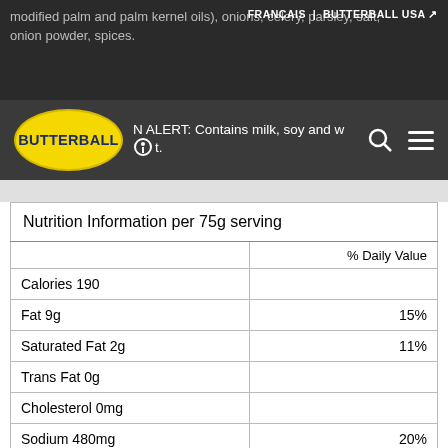modified palm and palm kernel oils), onions, celery, parsley, salt, onion powder, spices.
FRANÇAIS | BUTTERBALL USA
N ALERT: Contains milk, soy and wheat.
| Nutrition Information per 75g serving | % Daily Value |
| --- | --- |
| Calories 190 |  |
| Fat 9g | 15% |
| Saturated Fat 2g | 11% |
| Trans Fat 0g |  |
| Cholesterol 0mg |  |
| Sodium 480mg | 20% |
| Carbohydrate 23g | 8% |
| Fibre 2g | 7% |